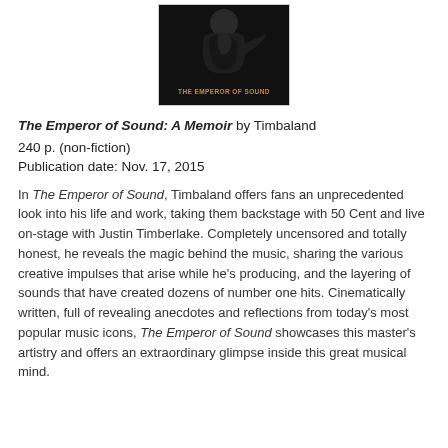[Figure (illustration): Book cover for 'The Emperor of Sound: A Memoir' by Timbaland. Black and white image of a person, with the title text in orange/brown at the bottom of the cover.]
The Emperor of Sound: A Memoir by Timbaland
240 p. (non-fiction)
Publication date: Nov. 17, 2015
In The Emperor of Sound, Timbaland offers fans an unprecedented look into his life and work, taking them backstage with 50 Cent and live on-stage with Justin Timberlake. Completely uncensored and totally honest, he reveals the magic behind the music, sharing the various creative impulses that arise while he's producing, and the layering of sounds that have created dozens of number one hits. Cinematically written, full of revealing anecdotes and reflections from today's most popular music icons, The Emperor of Sound showcases this master's artistry and offers an extraordinary glimpse inside this great musical mind.